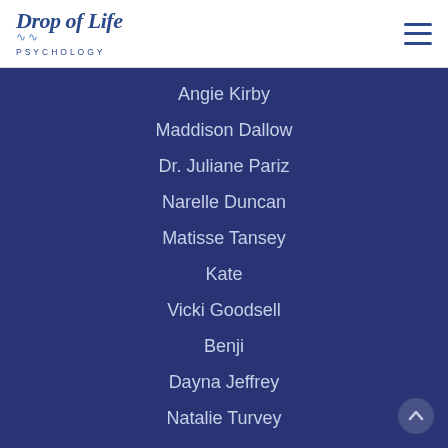[Figure (logo): Drop of Life Psychology logo with stylized text and wave motif]
Angie Kirby
Maddison Dallow
Dr. Juliane Pariz
Narelle Duncan
Matisse Tansey
Kate
Vicki Goodsell
Benji
Dayna Jeffrey
Natalie Turvey